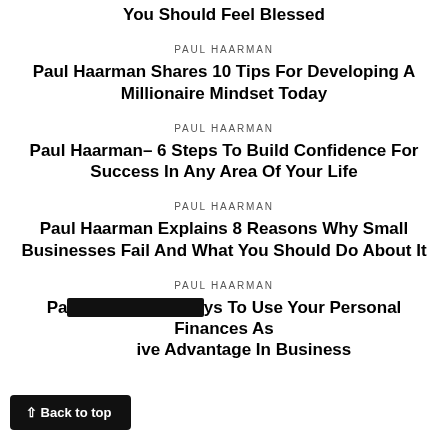You Should Feel Blessed
PAUL HAARMAN
Paul Haarman Shares 10 Tips For Developing A Millionaire Mindset Today
PAUL HAARMAN
Paul Haarman– 6 Steps To Build Confidence For Success In Any Area Of Your Life
PAUL HAARMAN
Paul Haarman Explains 8 Reasons Why Small Businesses Fail And What You Should Do About It
PAUL HAARMAN
Paul Haarman 7 Ways To Use Your Personal Finances As A Competitive Advantage In Business
Back to top